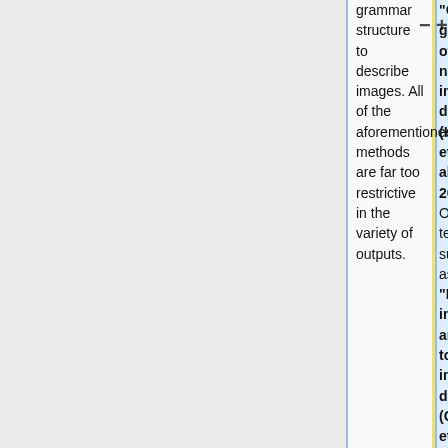grammar structure to describe images. All of the aforementioned methods are far too restrictive in the variety of outputs.
"Collective generation of natural image descriptions" (Kuznetsova et. al, 2012). Other templates such as "From image annotation to image description" (Gupta et. al, 2012) and "Midge: Generating image descriptions from computer vision detections" (Mitchell et. al, 2012) use fixed sentence